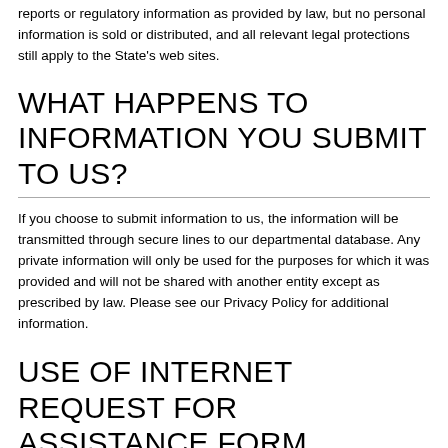reports or regulatory information as provided by law, but no personal information is sold or distributed, and all relevant legal protections still apply to the State's web sites.
WHAT HAPPENS TO INFORMATION YOU SUBMIT TO US?
If you choose to submit information to us, the information will be transmitted through secure lines to our departmental database. Any private information will only be used for the purposes for which it was provided and will not be shared with another entity except as prescribed by law. Please see our Privacy Policy for additional information.
USE OF INTERNET REQUEST FOR ASSISTANCE FORM INFORMATION